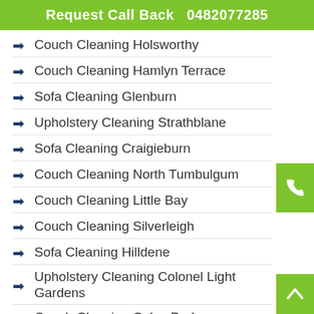Request Call Back   0482077285
Couch Cleaning Holsworthy
Couch Cleaning Hamlyn Terrace
Sofa Cleaning Glenburn
Upholstery Cleaning Strathblane
Sofa Cleaning Craigieburn
Couch Cleaning North Tumbulgum
Couch Cleaning Little Bay
Couch Cleaning Silverleigh
Sofa Cleaning Hilldene
Upholstery Cleaning Colonel Light Gardens
Couch Cleaning Oxley Park
Sofa Cleaning Pastoria